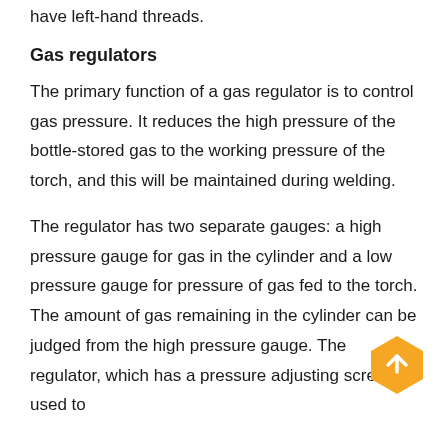have left-hand threads.
Gas regulators
The primary function of a gas regulator is to control gas pressure. It reduces the high pressure of the bottle-stored gas to the working pressure of the torch, and this will be maintained during welding.
The regulator has two separate gauges: a high pressure gauge for gas in the cylinder and a low pressure gauge for pressure of gas fed to the torch. The amount of gas remaining in the cylinder can be judged from the high pressure gauge. The regulator, which has a pressure adjusting screw, is used to
[Figure (other): Orange hexagon button with upward arrow icon]